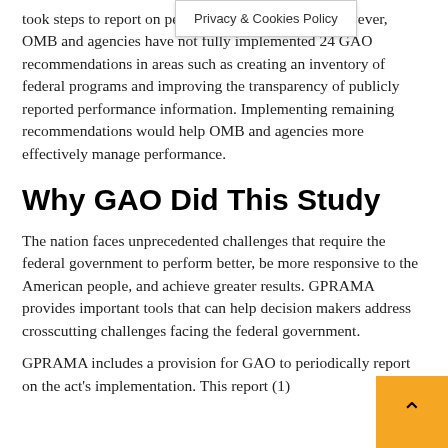took steps to report on performance information. However, OMB and agencies have not fully implemented 24 GAO recommendations in areas such as creating an inventory of federal programs and improving the transparency of publicly reported performance information. Implementing remaining recommendations would help OMB and agencies more effectively manage performance.
Why GAO Did This Study
The nation faces unprecedented challenges that require the federal government to perform better, be more responsive to the American people, and achieve greater results. GPRAMA provides important tools that can help decision makers address crosscutting challenges facing the federal government.
GPRAMA includes a provision for GAO to periodically report on the act’s implementation. This report (1)